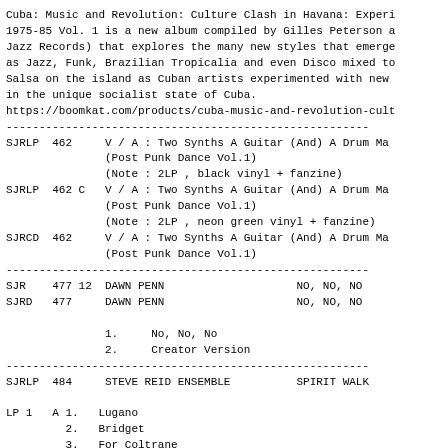Cuba: Music and Revolution: Culture Clash in Havana: Experi 1975-85 Vol. 1 is a new album compiled by Gilles Peterson a Jazz Records) that explores the many new styles that emerge as Jazz, Funk, Brazilian Tropicalia and even Disco mixed to Salsa on the island as Cuban artists experimented with new in the unique socialist state of Cuba. https://boomkat.com/products/cuba-music-and-revolution-cult
SJRLP  462     V / A : Two Synths A Guitar (And) A Drum Ma
               (Post Punk Dance Vol.1)
               (Note : 2LP , black vinyl + fanzine)
SJRLP  462 C   V / A : Two Synths A Guitar (And) A Drum Ma
               (Post Punk Dance Vol.1)
               (Note : 2LP , neon green vinyl + fanzine)
SJRCD  462     V / A : Two Synths A Guitar (And) A Drum Ma
               (Post Punk Dance Vol.1)
SJR    477 12  DAWN PENN                    NO, NO, NO
SJRD   477     DAWN PENN                    NO, NO, NO

               1.     No, No, No
               2.     Creator Version
SJRLP  484     STEVE REID ENSEMBLE          SPIRIT WALK

LP 1   A 1.   Lugano
         2.   Bridget
         3.   For Coltrane
       B 1.   Blind Tom
         2.   Which One?
         3.   Lions Of Juda